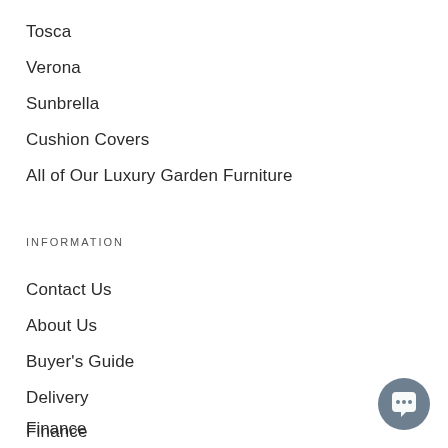Tosca
Verona
Sunbrella
Cushion Covers
All of Our Luxury Garden Furniture
INFORMATION
Contact Us
About Us
Buyer's Guide
Delivery
Finance
Guarantee
[Figure (illustration): Chat bubble icon in dark grey circle, bottom right corner]